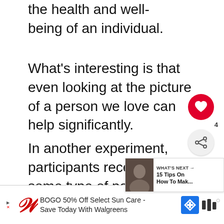the health and well-being of an individual.
What's interesting is that even looking at the picture of a person we love can help significantly.
In another experiment, participants received some type of pain stimuli while looking at the pictures of their loved ones, a stranger and a random object.
[Figure (other): UI overlay with heart/like button (red circle with heart icon), share count badge showing 4, and share button]
[Figure (other): What's Next panel with thumbnail image and text: WHAT'S NEXT → 15 Tips On How To Mak...]
[Figure (other): Advertisement banner: BOGO 50% Off Select Sun Care - Save Today With Walgreens, with Walgreens W logo and navigation icons]